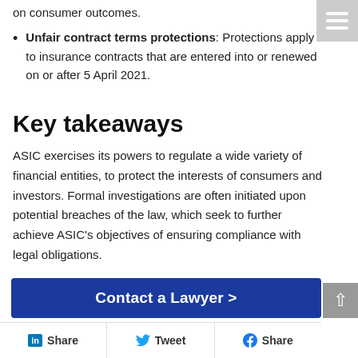on consumer outcomes.
Unfair contract terms protections: Protections apply to insurance contracts that are entered into or renewed on or after 5 April 2021.
Key takeaways
ASIC exercises its powers to regulate a wide variety of financial entities, to protect the interests of consumers and investors. Formal investigations are often initiated upon potential breaches of the law, which seek to further achieve ASIC’s objectives of ensuring compliance with legal obligations.